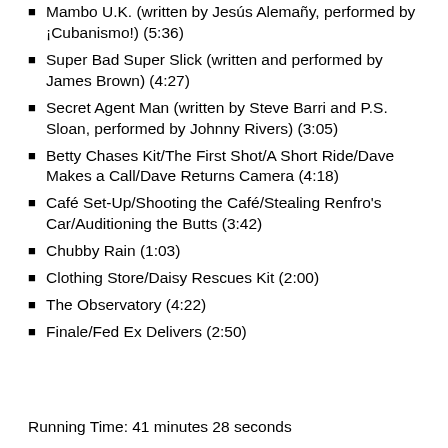Mambo U.K. (written by Jesús Alemañy, performed by ¡Cubanismo!) (5:36)
Super Bad Super Slick (written and performed by James Brown) (4:27)
Secret Agent Man (written by Steve Barri and P.S. Sloan, performed by Johnny Rivers) (3:05)
Betty Chases Kit/The First Shot/A Short Ride/Dave Makes a Call/Dave Returns Camera (4:18)
Café Set-Up/Shooting the Café/Stealing Renfro's Car/Auditioning the Butts (3:42)
Chubby Rain (1:03)
Clothing Store/Daisy Rescues Kit (2:00)
The Observatory (4:22)
Finale/Fed Ex Delivers (2:50)
Running Time: 41 minutes 28 seconds